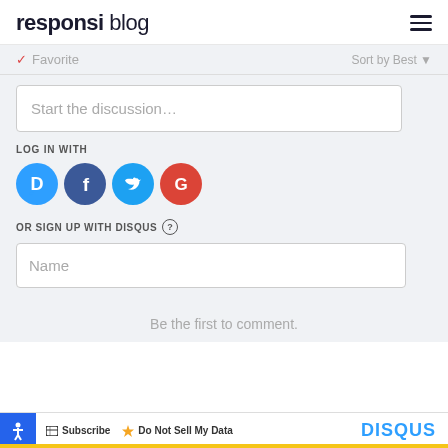responsi blog
Favorite   Sort by Best
Start the discussion…
LOG IN WITH
[Figure (infographic): Four social login icons in circles: Disqus (blue), Facebook (dark blue), Twitter (light blue), Google (red)]
OR SIGN UP WITH DISQUS ?
Name
Be the first to comment.
Subscribe   Do Not Sell My Data   DISQUS